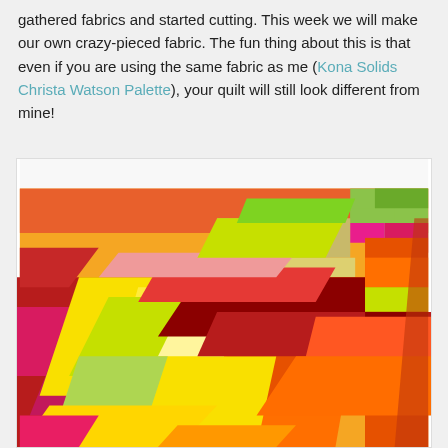Welcome to week two of Fabric QuiltAlong! Last week we gathered fabrics and started cutting. This week we will make our own crazy-pieced fabric. The fun thing about this is that even if you are using the same fabric as me (Kona Solids Christa Watson Palette), your quilt will still look different from mine!
[Figure (photo): A colorful crazy-pieced quilt made from bright solid fabrics in red, orange, yellow, green, magenta, and lime, with diagonal strips and blocks arranged in a modern abstract pattern.]